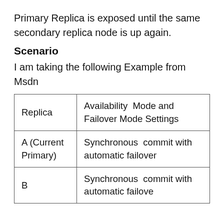Primary Replica is exposed until the same secondary replica node is up again.
Scenario
I am taking the following Example from Msdn
| Replica | Availability Mode and Failover Mode Settings |
| --- | --- |
| A (Current Primary) | Synchronous commit with automatic failover |
| B | Synchronous commit with automatic failove... |